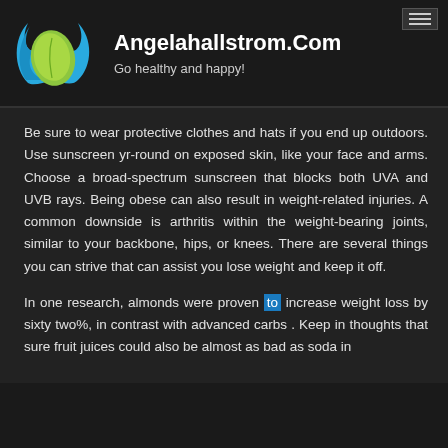[Figure (logo): Green leaf with blue swirl logo for Angelahallstrom.Com health website]
Angelahallstrom.Com
Go healthy and happy!
Be sure to wear protective clothes and hats if you end up outdoors. Use sunscreen yr-round on exposed skin, like your face and arms. Choose a broad-spectrum sunscreen that blocks both UVA and UVB rays. Being obese can also result in weight-related injuries. A common downside is arthritis within the weight-bearing joints, similar to your backbone, hips, or knees. There are several things you can strive that can assist you lose weight and keep it off.
In one research, almonds were proven to increase weight loss by sixty two%, in contrast with advanced carbs . Keep in thoughts that sure fruit juices could also be almost as bad as soda in